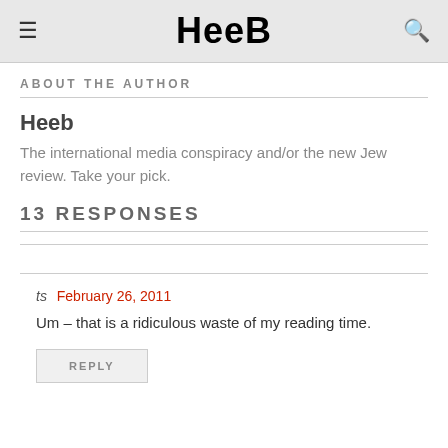Heeb
ABOUT THE AUTHOR
Heeb
The international media conspiracy and/or the new Jew review. Take your pick.
13 RESPONSES
ts February 26, 2011
Um – that is a ridiculous waste of my reading time.
REPLY